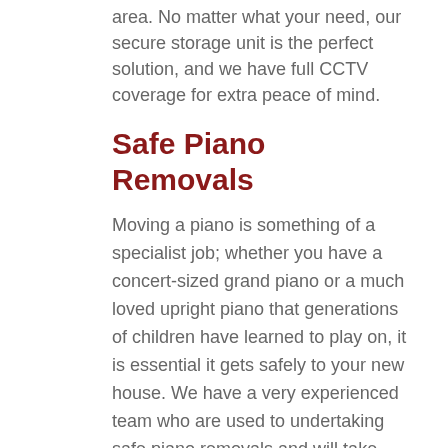area. No matter what your need, our secure storage unit is the perfect solution, and we have full CCTV coverage for extra peace of mind.
Safe Piano Removals
Moving a piano is something of a specialist job; whether you have a concert-sized grand piano or a much loved upright piano that generations of children have learned to play on, it is essential it gets safely to your new house. We have a very experienced team who are used to undertaking safe piano removals and will take care of every detail of the move for you. Whether this is part of a house move or just a need to move the piano and nothing else, our piano removals are first-class and